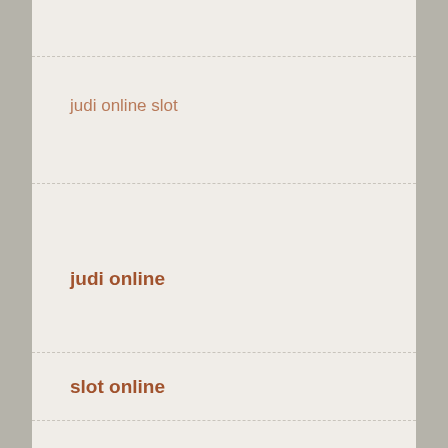judi online slot
judi online
slot online